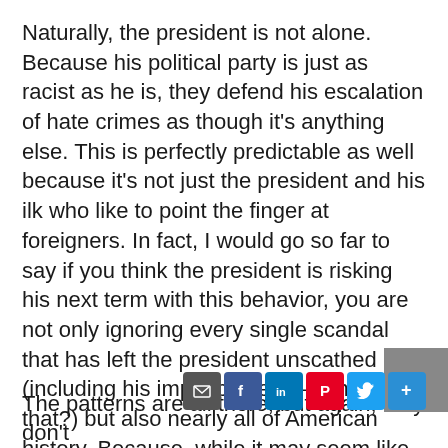Naturally, the president is not alone. Because his political party is just as racist as he is, they defend his escalation of hate crimes as though it's anything else. This is perfectly predictable as well because it's not just the president and his ilk who like to point the finger at foreigners. In fact, I would go so far to say if you think the president is risking his next term with this behavior, you are not only ignoring every single scandal that has left the president unscathed (including his impeachment—remember that?) but also nearly all of American history. Because, while it may seem like an aberration in this moment, this country has almost exclusively only ever blamed immigrants and people of color for diseases.
The patterns are all there, but again, they don't